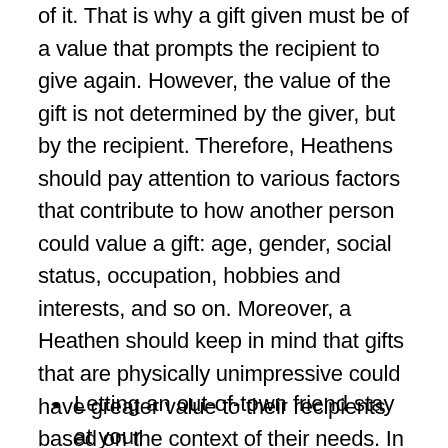of it. That is why a gift given must be of a value that prompts the recipient to give again. However, the value of the gift is not determined by the giver, but by the recipient. Therefore, Heathens should pay attention to various factors that contribute to how another person could value a gift: age, gender, social status, occupation, hobbies and interests, and so on. Moreover, a Heathen should keep in mind that gifts that are physically unimpressive could have greater value to their recipients based on the context of their needs. In fact, “gifts” do not always have to be physical objects. Some examples of intangible gifts are:
Letting an out-of-town friend stay at your